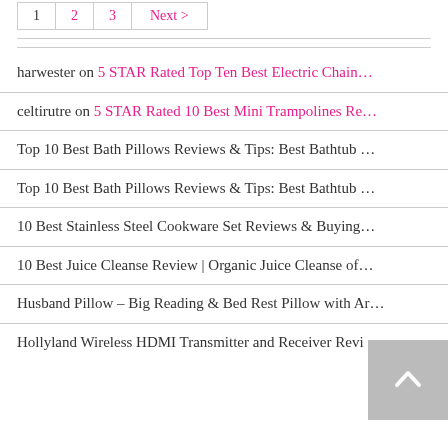1  2  3  Next >
harwester on 5 STAR Rated Top Ten Best Electric Chain…
celtirutre on 5 STAR Rated 10 Best Mini Trampolines Re…
Top 10 Best Bath Pillows Reviews & Tips: Best Bathtub …
Top 10 Best Bath Pillows Reviews & Tips: Best Bathtub …
10 Best Stainless Steel Cookware Set Reviews & Buying…
10 Best Juice Cleanse Review | Organic Juice Cleanse of…
Husband Pillow – Big Reading & Bed Rest Pillow with Ar…
Hollyland Wireless HDMI Transmitter and Receiver Revi